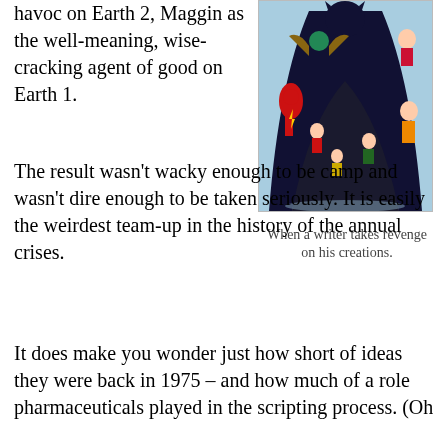havoc on Earth 2, Maggin as the well-meaning, wise-cracking agent of good on Earth 1.
[Figure (illustration): Comic book illustration showing a large dark-caped figure (Batman) from behind facing a group of DC superheroes including Flash, Hawkman, Wonder Woman, Aquaman, Robin and others in a blue-toned scene.]
When a writer takes revenge on his creations.
The result wasn't wacky enough to be camp and wasn't dire enough to be taken seriously. It is easily the weirdest team-up in the history of the annual crises.
It does make you wonder just how short of ideas they were back in 1975 – and how much of a role pharmaceuticals played in the scripting process. (Oh